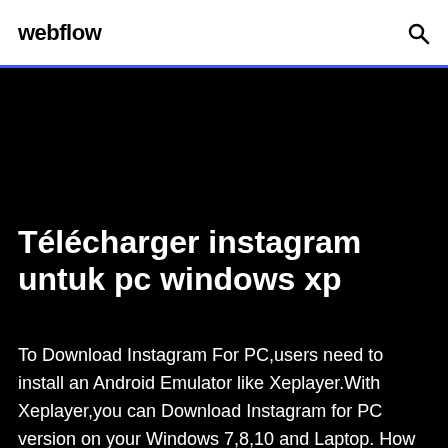webflow
Télécharger instagram untuk pc windows xp
To Download Instagram For PC,users need to install an Android Emulator like Xeplayer.With Xeplayer,you can Download Instagram for PC version on your Windows 7,8,10 and Laptop. How